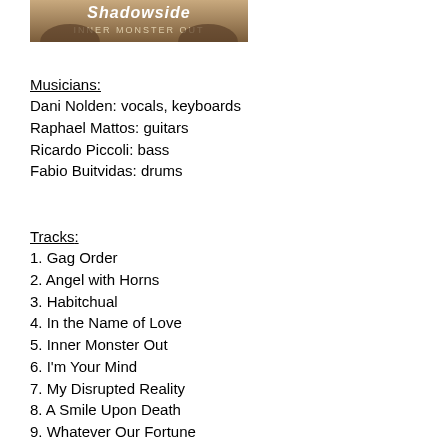[Figure (illustration): Album cover image for Shadowside - Inner Monster Out, showing the band name in stylized text over a dark background with figures]
Musicians:
Dani Nolden: vocals, keyboards
Raphael Mattos: guitars
Ricardo Piccoli: bass
Fabio Buitvidas: drums
Tracks:
1. Gag Order
2. Angel with Horns
3. Habitchual
4. In the Name of Love
5. Inner Monster Out
6. I'm Your Mind
7. My Disrupted Reality
8. A Smile Upon Death
9. Whatever Our Fortune